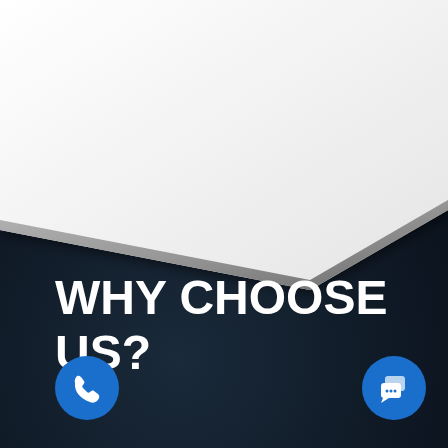[Figure (illustration): Dark navy background with a white angled shape (like a turned page or document corner) in the upper portion, creating a diagonal split. Two blue circular icon buttons at the bottom — a phone icon on the left and a chat/message icon on the right.]
WHY CHOOSE US?